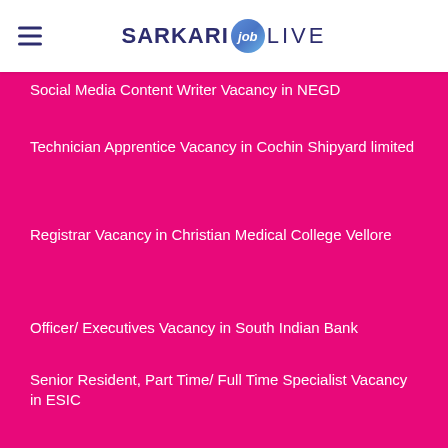SARKARI job LIVE
Social Media Content Writer Vacancy in NEGD
Technician Apprentice Vacancy in Cochin Shipyard limited
Registrar Vacancy in Christian Medical College Vellore
Officer/ Executives Vacancy in South Indian Bank
Senior Resident, Part Time/ Full Time Specialist Vacancy in ESIC
Guest Faculty Vacancy in NSIT